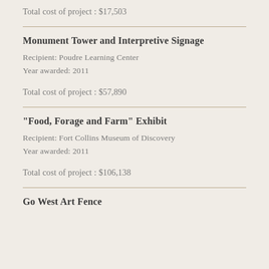Total cost of project : $17,503
Monument Tower and Interpretive Signage
Recipient: Poudre Learning Center
Year awarded: 2011
Total cost of project : $57,890
“Food, Forage and Farm” Exhibit
Recipient: Fort Collins Museum of Discovery
Year awarded: 2011
Total cost of project : $106,138
Go West Art Fence